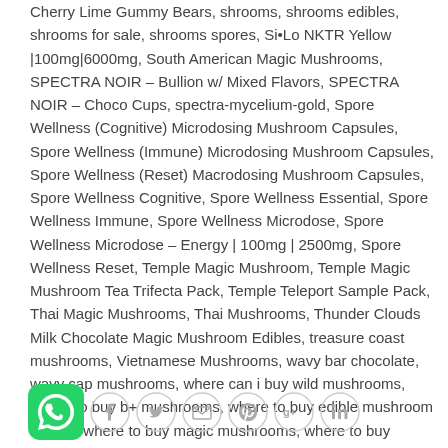Cherry Lime Gummy Bears, shrooms, shrooms edibles, shrooms for sale, shrooms spores, Si•Lo NKTR Yellow |100mg|6000mg, South American Magic Mushrooms, SPECTRA NOIR – Bullion w/ Mixed Flavors, SPECTRA NOIR – Choco Cups, spectra-mycelium-gold, Spore Wellness (Cognitive) Microdosing Mushroom Capsules, Spore Wellness (Immune) Microdosing Mushroom Capsules, Spore Wellness (Reset) Macrodosing Mushroom Capsules, Spore Wellness Cognitive, Spore Wellness Essential, Spore Wellness Immune, Spore Wellness Microdose, Spore Wellness Microdose – Energy | 100mg | 2500mg, Spore Wellness Reset, Temple Magic Mushroom, Temple Magic Mushroom Tea Trifecta Pack, Temple Teleport Sample Pack, Thai Magic Mushrooms, Thai Mushrooms, Thunder Clouds Milk Chocolate Magic Mushroom Edibles, treasure coast mushrooms, Vietnamese Mushrooms, wavy bar chocolate, wavy cap mushrooms, where can i buy wild mushrooms, where to buy b+ mushrooms, where to buy edible mushroom spores, where to buy magic mushrooms, where to buy mushroom chocolate, where to buy Psilocybin, where to buy shrooms, white albino mushrooms, White Button mushroom, White Champignon, wholecelium, Wild Enoki Mushroom, wild mushrooms edible for sale, z strain mushroom
[Figure (infographic): Social sharing icons row: WhatsApp green bubble icon, Facebook, Twitter, Email, Pinterest, Google+, LinkedIn circle icons]